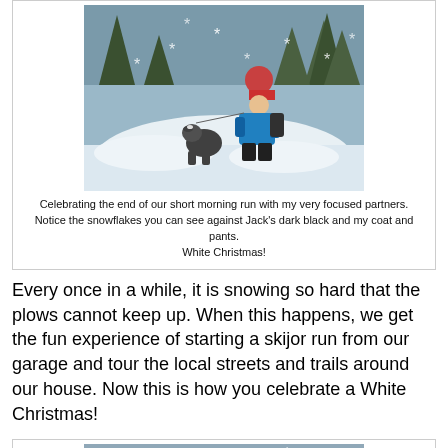[Figure (photo): Person in red hat and blue jacket kneeling in snow with a husky dog looking up at them, snowy forest in background]
Celebrating the end of our short morning run with my very focused partners.
Notice the snowflakes you can see against Jack's dark black and my coat and pants.
White Christmas!
Every once in a while, it is snowing so hard that the plows cannot keep up. When this happens, we get the fun experience of starting a skijor run from our garage and tour the local streets and trails around our house. Now this is how you celebrate a White Christmas!
[Figure (photo): Snowy outdoor scene with trees and what appears to be a street or trail covered in snow]